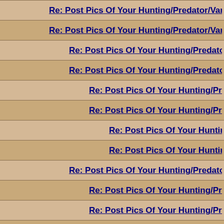Re: Post Pics Of Your Hunting/Predator/Varmit AR Here !!
Re: Post Pics Of Your Hunting/Predator/Varmit AR Here !!
Re: Post Pics Of Your Hunting/Predator/Varmit AR Here
Re: Post Pics Of Your Hunting/Predator/Varmit AR He
Re: Post Pics Of Your Hunting/Predator/Varmit AR H
Re: Post Pics Of Your Hunting/Predator/Varmit AR
Re: Post Pics Of Your Hunting/Predator/Varmit
Re: Post Pics Of Your Hunting/Predator/Varm
Re: Post Pics Of Your Hunting/Predator/Varmit AR He
Re: Post Pics Of Your Hunting/Predator/Varmit AR H
Re: Post Pics Of Your Hunting/Predator/Varmit AR H
Re: Post Pics Of Your Hunting/Predator/Varmit AR Here !!
Re: Post Pics Of Your Hunting/Predator/Varmit AR Here !!
Re: Post Pics Of Your Hunting/Predator/Varmit AR Here !!
Re: Post Pics Of Your Hunting/Predator/Varmit AR Here
Re: Post Pics Of Your Hunting/Predator/Varmit AR He
Re: Post Pics Of Your Hunting/Predator/Varmit AR H
Re: Post Pics Of Your Hunting/Predator/Varmit AR